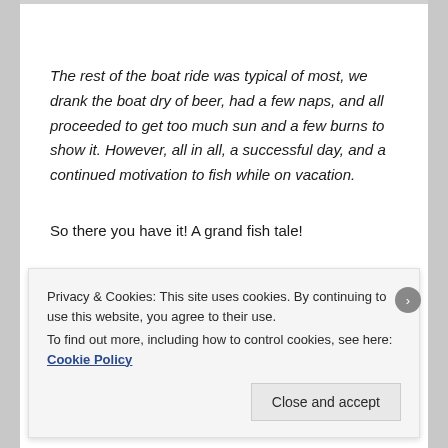The rest of the boat ride was typical of most, we drank the boat dry of beer, had a few naps, and all proceeded to get too much sun and a few burns to show it. However, all in all, a successful day, and a continued motivation to fish while on vacation.
So there you have it! A grand fish tale!
Do you have any fish stories you would care to share?
Privacy & Cookies: This site uses cookies. By continuing to use this website, you agree to their use.
To find out more, including how to control cookies, see here: Cookie Policy